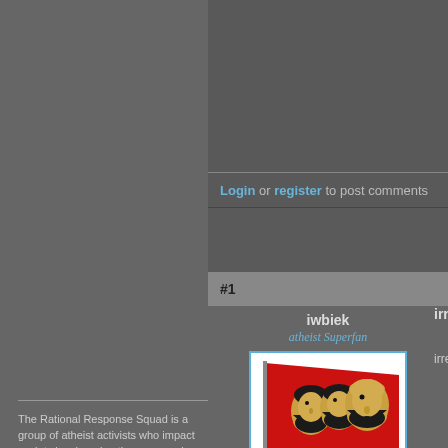Login or register to post comments
#1
iwbiek
atheist Superfan
[Figure (illustration): Red flag with three profile silhouettes of historical figures (Marx, Engels, Lenin) in gold and black]
Posts: 4267
Joined: 2008-03-23
Offline
irrefutab
irrefutab
The Rational Response Squad is a group of atheist activists who impact society by changing the way we view god belief.  This site is a haven for those who are pushing back against the norm, and a place for believers of gods to have their